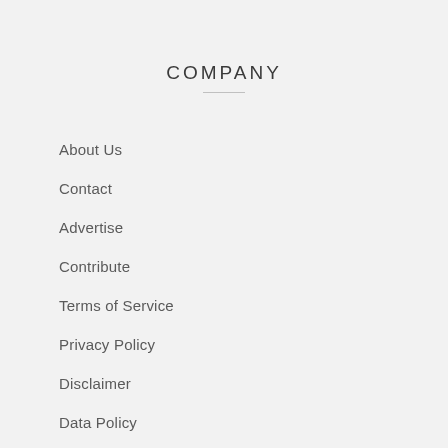COMPANY
About Us
Contact
Advertise
Contribute
Terms of Service
Privacy Policy
Disclaimer
Data Policy